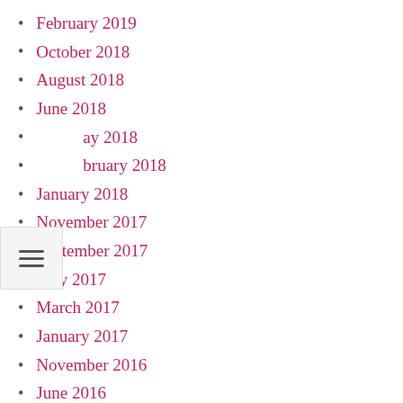February 2019
October 2018
August 2018
June 2018
May 2018
February 2018
January 2018
November 2017
September 2017
May 2017
March 2017
January 2017
November 2016
June 2016
July 2015
January 2015
November 2014
May 2014
January 2014